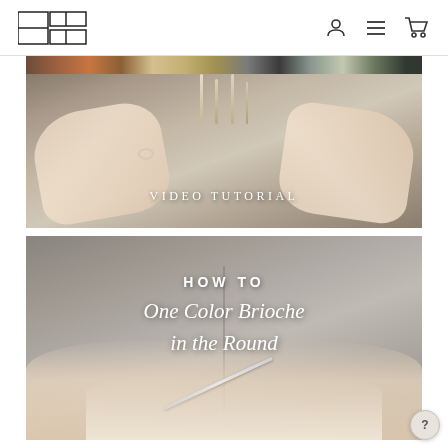Navigation header with logo and icons
[Figure (screenshot): Video tutorial thumbnail showing hands working with knitting/textile, with text overlay 'VIDEO TUTORIAL']
[Figure (screenshot): Video tutorial thumbnail showing hands knitting in the round, with text overlay 'HOW TO One Color Brioche in the Round']